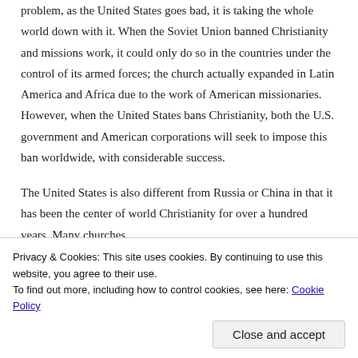problem, as the United States goes bad, it is taking the whole world down with it. When the Soviet Union banned Christianity and missions work, it could only do so in the countries under the control of its armed forces; the church actually expanded in Latin America and Africa due to the work of American missionaries. However, when the United States bans Christianity, both the U.S. government and American corporations will seek to impose this ban worldwide, with considerable success.
The United States is also different from Russia or China in that it has been the center of world Christianity for over a hundred years. Many churches,
Privacy & Cookies: This site uses cookies. By continuing to use this website, you agree to their use.
To find out more, including how to control cookies, see here: Cookie Policy
Close and accept